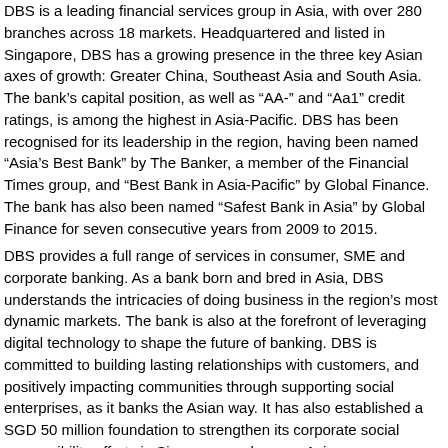DBS is a leading financial services group in Asia, with over 280 branches across 18 markets. Headquartered and listed in Singapore, DBS has a growing presence in the three key Asian axes of growth: Greater China, Southeast Asia and South Asia. The bank's capital position, as well as "AA-" and "Aa1" credit ratings, is among the highest in Asia-Pacific. DBS has been recognised for its leadership in the region, having been named “Asia’s Best Bank” by The Banker, a member of the Financial Times group, and “Best Bank in Asia-Pacific” by Global Finance. The bank has also been named “Safest Bank in Asia” by Global Finance for seven consecutive years from 2009 to 2015.
DBS provides a full range of services in consumer, SME and corporate banking. As a bank born and bred in Asia, DBS understands the intricacies of doing business in the region’s most dynamic markets. The bank is also at the forefront of leveraging digital technology to shape the future of banking. DBS is committed to building lasting relationships with customers, and positively impacting communities through supporting social enterprises, as it banks the Asian way. It has also established a SGD 50 million foundation to strengthen its corporate social responsibility efforts in Singapore and across Asia.